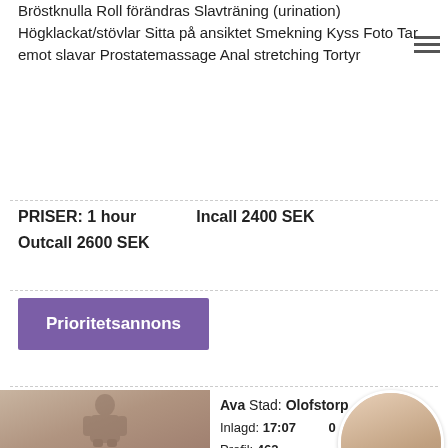Bröstknulla Roll förändras Slavträning (urination) Högklackat/stövlar Sitta på ansiktet Smekning Kyss Foto Tar emot slavar Prostatemassage Anal stretching Tortyr
PRISER: 1 hour   Incall 2400 SEK
Outcall 2600 SEK
Prioritetsannons
[Figure (photo): Photo of a young woman with brown hair wearing a white top]
Ava Stad: Olofstorp
Inlagd: 17:07 ... 0
Profil: 462...
Verification...
photos Inc...
Incall & Outcall
[Figure (photo): Circular overlay photo]